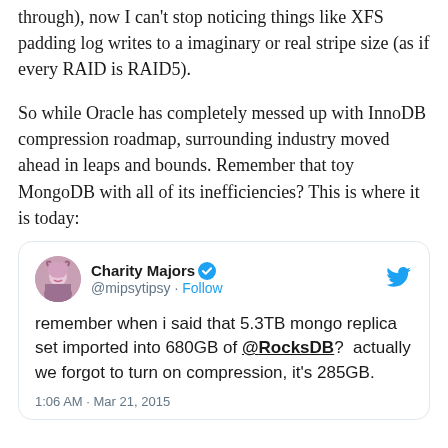through), now I can't stop noticing things like XFS padding log writes to a imaginary or real stripe size (as if every RAID is RAID5).
So while Oracle has completely messed up with InnoDB compression roadmap, surrounding industry moved ahead in leaps and bounds. Remember that toy MongoDB with all of its inefficiencies? This is where it is today:
[Figure (screenshot): Embedded tweet from Charity Majors (@mipsytipsy) with Twitter verified badge and Follow button. Tweet text: 'remember when i said that 5.3TB mongo replica set imported into 680GB of @RocksDB?  actually we forgot to turn on compression, it's 285GB.' Timestamp: 1:06 AM · Mar 21, 2015]